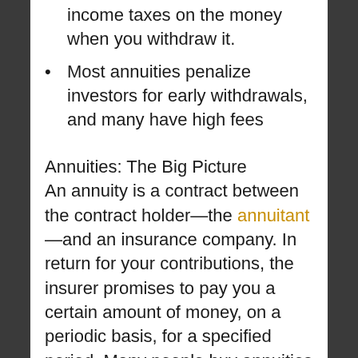income taxes on the money when you withdraw it.
Most annuities penalize investors for early withdrawals, and many have high fees
Annuities: The Big Picture
An annuity is a contract between the contract holder—the annuitant—and an insurance company. In return for your contributions, the insurer promises to pay you a certain amount of money, on a periodic basis, for a specified period. Many people buy annuities as a kind of retirement-income insurance, which guarantees them a regular income stream after they've left the workforce,